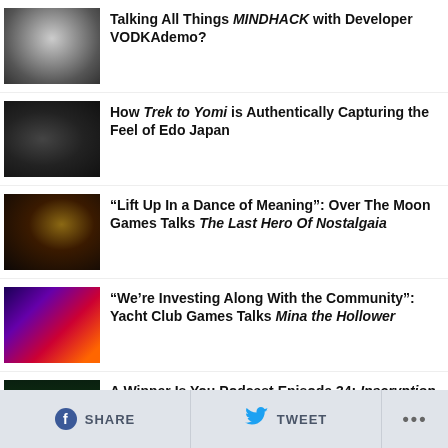Talking All Things MINDHACK with Developer VODKAdemo?
How Trek to Yomi is Authentically Capturing the Feel of Edo Japan
“Lift Up In a Dance of Meaning”: Over The Moon Games Talks The Last Hero Of Nostalgaia
“We’re Investing Along With the Community”: Yacht Club Games Talks Mina the Hollower
A Winner Is You Podcast Episode 34: Inscryption
SHARE  TWEET  ...